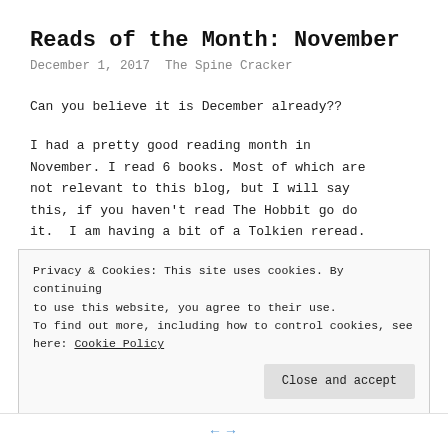Reads of the Month: November
December 1, 2017  The Spine Cracker
Can you believe it is December already??
I had a pretty good reading month in November. I read 6 books. Most of which are not relevant to this blog, but I will say this, if you haven't read The Hobbit go do it.  I am having a bit of a Tolkien reread. Blame D&D
Privacy & Cookies: This site uses cookies. By continuing to use this website, you agree to their use.
To find out more, including how to control cookies, see here: Cookie Policy
Close and accept